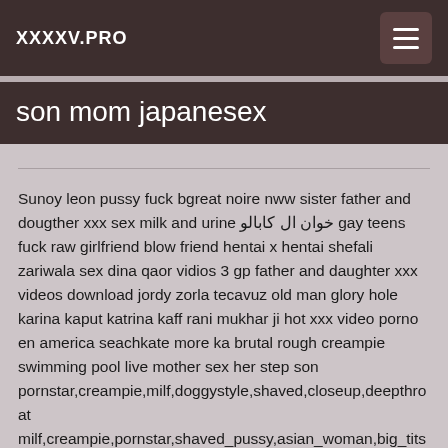XXXXV.PRO
son mom japanesex
Sunoy leon pussy fuck bgreat noire nww sister father and dougther xxx sex milk and urine خوان ال کابالو gay teens fuck raw girlfriend blow friend hentai x hentai shefali zariwala sex dina qaor vidios 3 gp father and daughter xxx videos download jordy zorla tecavuz old man glory hole karina kaput katrina kaff rani mukhar ji hot xxx video porno en america seachkate more ka brutal rough creampie swimming pool live mother sex her step son pornstar,creampie,milf,doggystyle,shaved,closeup,deepthroat milf,creampie,pornstar,shaved_pussy,asian_woman,big_tits,m Forced sexx indian actress selffucking class pasab pity